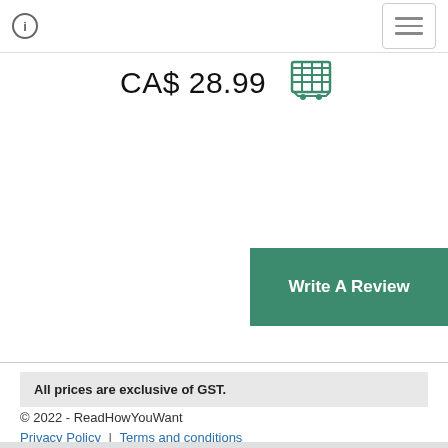[Figure (other): Info icon (circle with 'i') and hamburger menu button in top bar]
CA$ 28.99
[Figure (other): Shopping cart icon in teal/green color]
[Figure (other): Write A Review button in dark teal green]
All prices are exclusive of GST.
© 2022 - ReadHowYouWant
Privacy Policy | Terms and conditions